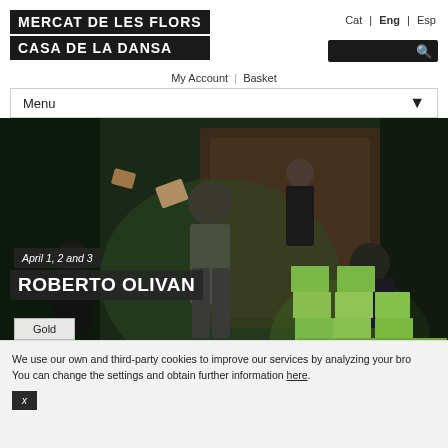MERCAT DE LES FLORS | CASA DE LA DANSA
Cat | Eng | Esp
My Account | Basket
Menu
[Figure (photo): Theater/dance performance photo showing performers on stage with large green wooden blocks; a man in a gray shirt stands center, a woman in black behind him, and another performer crouched to the right arranging blocks.]
April 1, 2 and 3
ROBERTO OLIVAN
Gold
Buy your ticket
+ Share
We use our own and third-party cookies to improve our services by analyzing your bro… You can change the settings and obtain further information here.
x